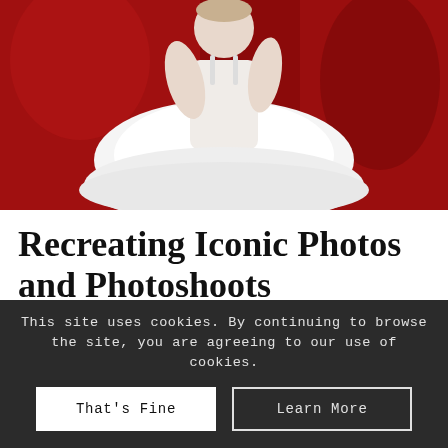[Figure (photo): A woman wearing a white dress/gown seated against a red velvet background, photographed from above.]
Recreating Iconic Photos and Photoshoots
Over the years we have quite a few clients who have called asking...
This site uses cookies. By continuing to browse the site, you are agreeing to our use of cookies.